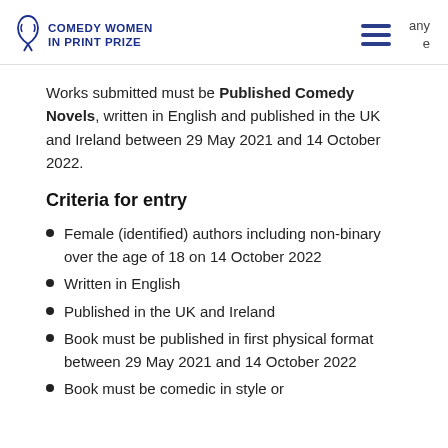COMEDY WOMEN IN PRINT PRIZE
Works submitted must be Published Comedy Novels, written in English and published in the UK and Ireland between 29 May 2021 and 14 October 2022.
Criteria for entry
Female (identified) authors including non-binary over the age of 18 on 14 October 2022
Written in English
Published in the UK and Ireland
Book must be published in first physical format between 29 May 2021 and 14 October 2022
Book must be comedic in style or content...